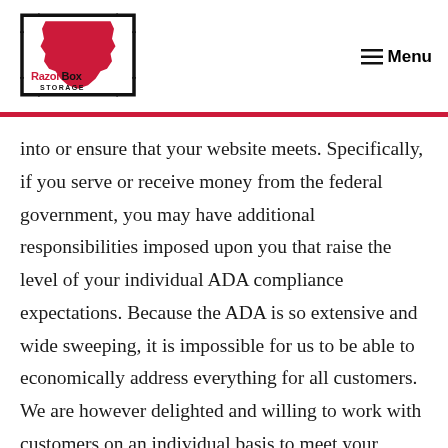[Figure (logo): RazorBox Storage logo with Arkansas state outline in red and black bracket frame]
Menu
into or ensure that your website meets. Specifically, if you serve or receive money from the federal government, you may have additional responsibilities imposed upon you that raise the level of your individual ADA compliance expectations. Because the ADA is so extensive and wide sweeping, it is impossible for us to be able to economically address everything for all customers. We are however delighted and willing to work with customers on an individual basis to meet your specific needs and can even certify website compliance to particular desired standards for an additional charge. Thank you for appreciating in advance that this may ultimately increase our development